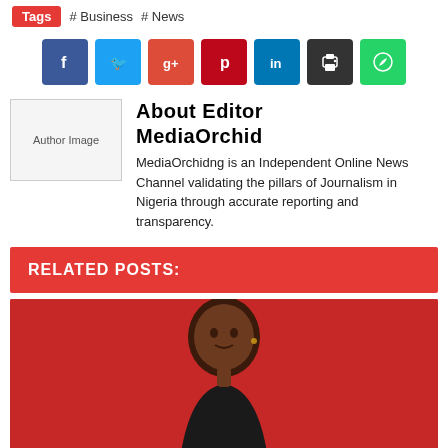Tags  # Business  # News
[Figure (other): Social media share buttons: Facebook, Twitter, Google+, Pinterest, LinkedIn, Print, WhatsApp]
[Figure (photo): Author image placeholder for Editor MediaOrchid]
About Editor MediaOrchid
MediaOrchidng is an Independent Online News Channel validating the pillars of Journalism in Nigeria through accurate reporting and transparency.
RELATED POSTS:
[Figure (photo): Photo of a Nigerian singer against a red background]
BREAKING: Nigerian Singer King Daniel Arrested by Tanzanian...